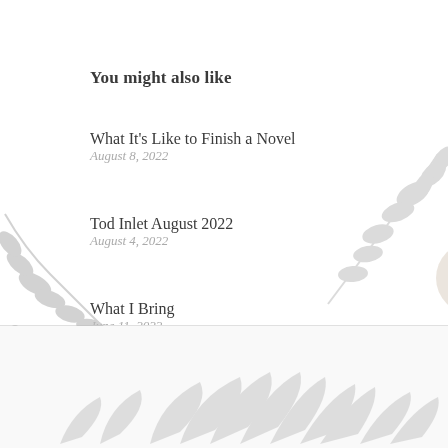You might also like
What It’s Like to Finish a Novel
August 8, 2022
Tod Inlet August 2022
August 4, 2022
What I Bring
June 11, 2022
[Figure (illustration): Decorative botanical leaf illustrations in light grey, appearing in bottom corners and footer area of the page]